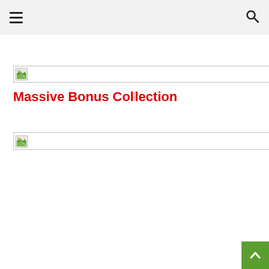Navigation header with hamburger menu and search icon
[Figure (illustration): Broken image placeholder with small landscape icon and horizontal line]
Massive Bonus Collection
[Figure (illustration): Broken image placeholder with small landscape icon and horizontal line]
[Figure (illustration): Green back-to-top button with upward chevron arrow]